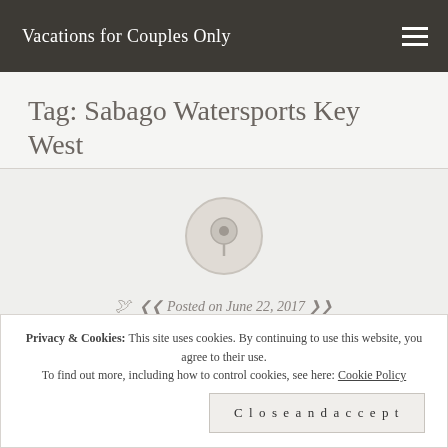Vacations for Couples Only
Tag: Sabago Watersports Key West
Posted on June 22, 2017
Privacy & Cookies: This site uses cookies. By continuing to use this website, you agree to their use. To find out more, including how to control cookies, see here: Cookie Policy
Close and accept